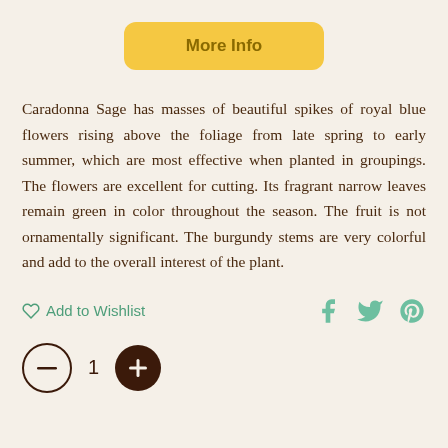[Figure (other): Yellow rounded button labeled 'More Info']
Caradonna Sage has masses of beautiful spikes of royal blue flowers rising above the foliage from late spring to early summer, which are most effective when planted in groupings. The flowers are excellent for cutting. Its fragrant narrow leaves remain green in color throughout the season. The fruit is not ornamentally significant. The burgundy stems are very colorful and add to the overall interest of the plant.
[Figure (other): Add to Wishlist link with heart icon and social media icons (Facebook, Twitter, Pinterest)]
[Figure (other): Quantity selector with minus button, number 1, and plus button]